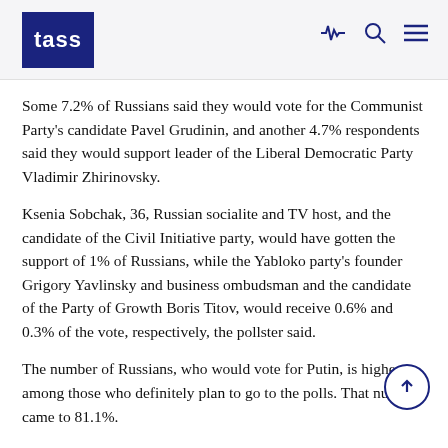TASS
Some 7.2% of Russians said they would vote for the Communist Party's candidate Pavel Grudinin, and another 4.7% respondents said they would support leader of the Liberal Democratic Party Vladimir Zhirinovsky.
Ksenia Sobchak, 36, Russian socialite and TV host, and the candidate of the Civil Initiative party, would have gotten the support of 1% of Russians, while the Yabloko party's founder Grigory Yavlinsky and business ombudsman and the candidate of the Party of Growth Boris Titov, would receive 0.6% and 0.3% of the vote, respectively, the pollster said.
The number of Russians, who would vote for Putin, is higher among those who definitely plan to go to the polls. That number came to 81.1%.
At the moment, Russia's voter turnout is expected to